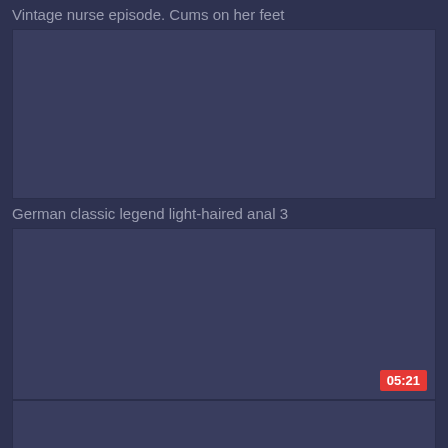Vintage nurse episode. Cums on her feet
[Figure (other): Video thumbnail placeholder, dark blue-gray rectangle]
German classic legend light-haired anal 3
[Figure (other): Video thumbnail placeholder, dark blue-gray rectangle, partially visible]